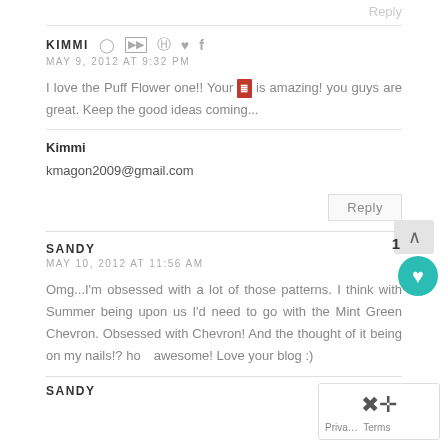Reply
KIMMI
MAY 9, 2012 AT 9:32 PM
I love the Puff Flower one!! Your blog is amazing! you guys are great. Keep the good ideas coming...
Kimmi
kmagon2009@gmail.com
Reply
SANDY
MAY 10, 2012 AT 11:56 AM
Omg...I'm obsessed with a lot of those patterns. I think with Summer being upon us I'd need to go with the Mint Green Chevron. Obsessed with Chevron! And the thought of it being on my nails!? how awesome! Love your blog :)
SANDY